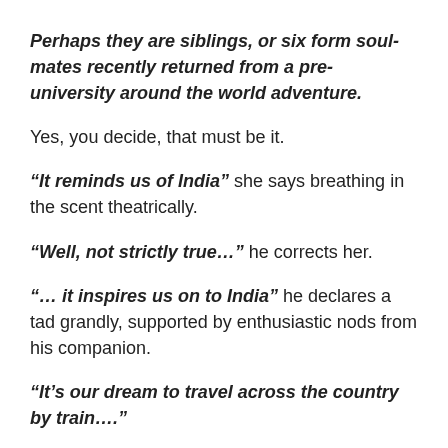Perhaps they are siblings, or six form soul-mates recently returned from a pre-university around the world adventure.
Yes, you decide, that must be it.
“It reminds us of India” she says breathing in the scent theatrically.
“Well, not strictly true…” he corrects her.
“… it inspires us on to India” he declares a tad grandly, supported by enthusiastic nods from his companion.
“It’s our dream to travel across the country by train….”
“… living only on tea and from tiffin boxes.” She says